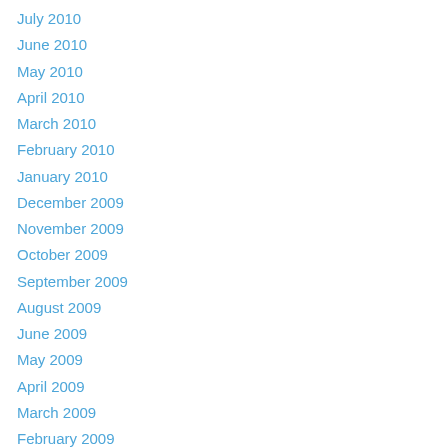July 2010
June 2010
May 2010
April 2010
March 2010
February 2010
January 2010
December 2009
November 2009
October 2009
September 2009
August 2009
June 2009
May 2009
April 2009
March 2009
February 2009
January 2009
December 2008
November 2008